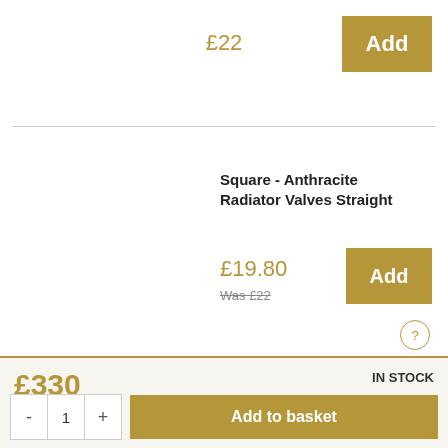£22
Add
Square - Anthracite Radiator Valves Straight
£19.80
Was £22
Add
£330
IN STOCK
Free delivery in 1-3 working days
Add to basket